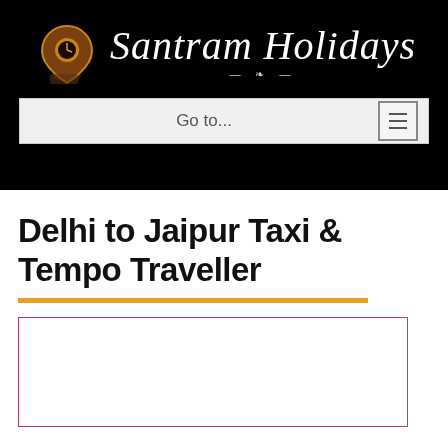[Figure (logo): Santram Holidays logo with map pin icon and decorative script text on black background]
Go to...
Delhi to Jaipur Taxi & Tempo Traveller
[Figure (other): Empty bordered box with dark pink/crimson border, likely a table or image placeholder]